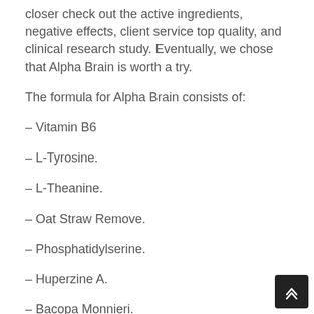closer check out the active ingredients, negative effects, client service top quality, and clinical research study. Eventually, we chose that Alpha Brain is worth a try.
The formula for Alpha Brain consists of:
– Vitamin B6
– L-Tyrosine.
– L-Theanine.
– Oat Straw Remove.
– Phosphatidylserine.
– Huperzine A.
– Bacopa Monnieri.